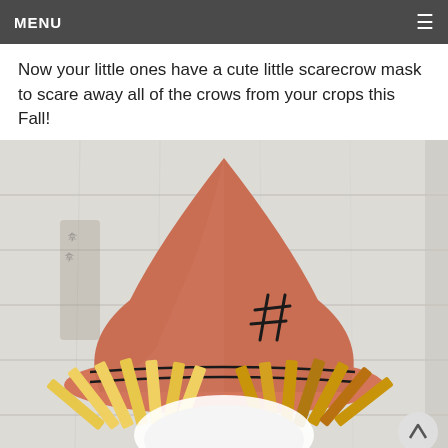MENU
Now your little ones have a cute little scarecrow mask to scare away all of the crows from your crops this Fall!
[Figure (photo): A DIY scarecrow mask made of salmon/terracotta-colored felt with a tall pointed hat shape, two parallel black lines across the brim area, and a stitched hashtag/cross-hatch mark on the front. Yellow and golden-yellow paper or felt strips fan out from the sides representing straw hair. Set against a white wooden plank background.]